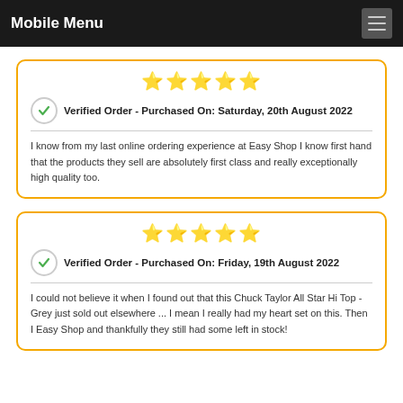Mobile Menu
★★★★★
Verified Order - Purchased On: Saturday, 20th August 2022
I know from my last online ordering experience at Easy Shop I know first hand that the products they sell are absolutely first class and really exceptionally high quality too.
★★★★★
Verified Order - Purchased On: Friday, 19th August 2022
I could not believe it when I found out that this Chuck Taylor All Star Hi Top - Grey just sold out elsewhere ... I mean I really had my heart set on this. Then I Easy Shop and thankfully they still had some left in stock!